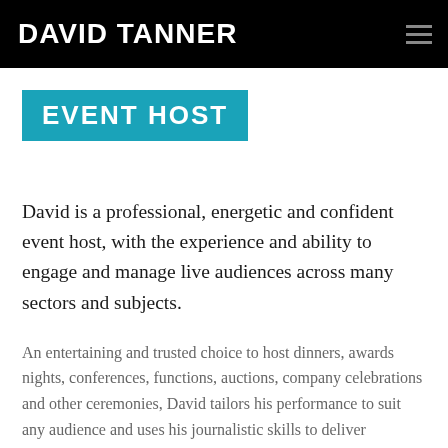DAVID TANNER
EVENT HOST
David is a professional, energetic and confident event host, with the experience and ability to engage and manage live audiences across many sectors and subjects.
An entertaining and trusted choice to host dinners, awards nights, conferences, functions, auctions, company celebrations and other ceremonies, David tailors his performance to suit any audience and uses his journalistic skills to deliver messages with